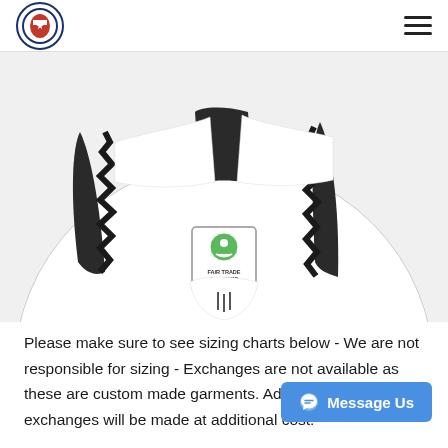Logo and navigation menu
[Figure (photo): Close-up photo of a white soccer ball with black graphic markings and a Fair Trade Certified label/badge visible on its surface]
Please make sure to see sizing charts below - We are not responsible for sizing - Exchanges are not available as these are custom made garments. Additional items or exchanges will be made at additional cost.
Jerseys
Sublimated Soccer Jersey. Dry-Excel™ Micro Interlock